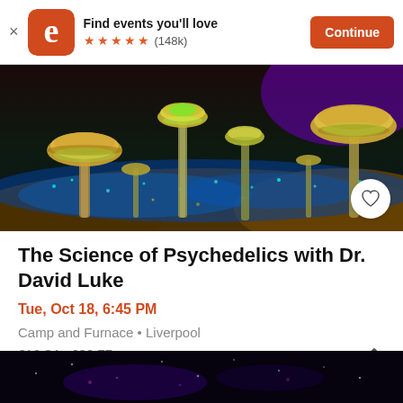Find events you'll love ★★★★★ (148k) Continue
[Figure (photo): Colorful psychedelic mushrooms glowing with blue bioluminescent light against a dark background with purple and gold tones]
The Science of Psychedelics with Dr. David Luke
Tue, Oct 18, 6:45 PM
Camp and Furnace • Liverpool
£12.34 - £30.77
[Figure (photo): Dark starry night sky teaser image at bottom of screen]